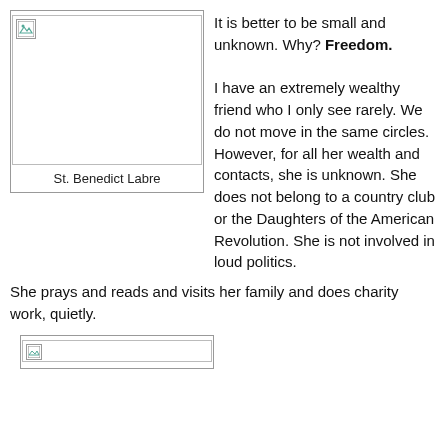[Figure (photo): Image placeholder with small icon in top-left corner, representing a photo of St. Benedict Labre]
St. Benedict Labre
It is better to be small and unknown. Why? Freedom.

I have an extremely wealthy friend who I only see rarely. We do not move in the same circles. However, for all her wealth and contacts, she is unknown. She does not belong to a country club or the Daughters of the American Revolution. She is not involved in loud politics.
She prays and reads and visits her family and does charity work, quietly.
[Figure (photo): Partially visible image placeholder at bottom of page]